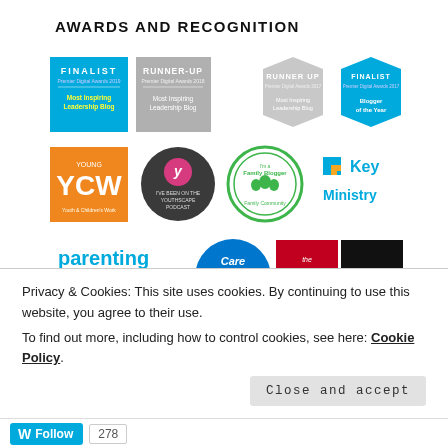AWARDS AND RECOGNITION
[Figure (infographic): A collage of award badges and brand logos including: Finalist Premier Digital Awards 2019 Most Inspiring Leadership Blog (blue badge), Runner-Up Premier Digital Awards 2019 Most Inspiring Leadership Blog (grey ribbon badge), Runner Up Premier Digital Awards 2017 Most Inspiring Leadership Blog (grey hexagonal badge), Finalist Premier Digital Awards 2017 Blogger of the Year (blue hexagonal badge), YCW orange logo, Ys Youthscape Podcast grey circle logo, Family Blogger green badge, Key Ministry logo, parenting for faith text logo, Care for the Family blue circle logo, The Mighty red rectangle logo, DAD.info black rectangle logo, and partial logos cut off at bottom including a blue swoosh, an oval, and a coat of arms.]
Privacy & Cookies: This site uses cookies. By continuing to use this website, you agree to their use.
To find out more, including how to control cookies, see here: Cookie Policy
Close and accept
Follow 278